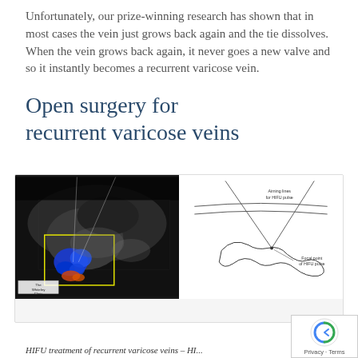Unfortunately, our prize-winning research has shown that in most cases the vein just grows back again and the tie dissolves. When the vein grows back again, it never goes a new valve and so it instantly becomes a recurrent varicose vein.
Open surgery for recurrent varicose veins
[Figure (photo): Left panel: ultrasound image showing blood flow in blue with yellow bounding box. Right panel: anatomical diagram of HIFU treatment showing aiming lines for HIFU pulse converging to a focal point of HIFU pulse on a vein structure.]
HIFU treatment of recurrent varicose veins – HI...